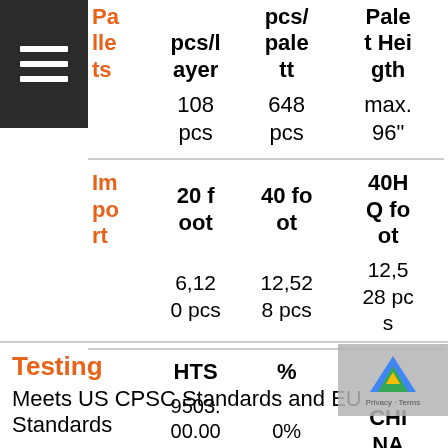| Pallets | pcs/layer | pcs/pallet | Pallet Height |
| --- | --- | --- | --- |
|  | 108 pcs | 648 pcs | max. 96" |
| Import | 20 foot | 40 foot | 40HQ foot |
| --- | --- | --- | --- |
|  | 6,120 pcs | 12,528 pcs | 12,528 pcs |
| HTS | % |  |  |
| --- | --- | --- | --- |
| 9503.00.0090 | 0% |  | CHINA |
Testing
Meets US CPSC Standards and EU Standards